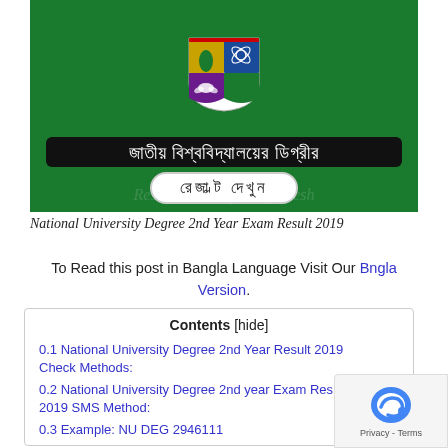[Figure (illustration): National University Bangladesh shield/logo on green background with Bangla text banner reading the degree result page header. Large black banner with Bangla text for 'National University Degree Results', white rounded button with Bangla text 'See Result', faint watermark text 'Result Portal of Bangladesh'.]
National University Degree 2nd Year Exam Result 2019
To Read this post in Bangla Language Visit Our Bngla Version.
| Contents |
| --- |
| 0.1 National University Degree 2nd Year Result 2019 Check Methods: |
| 0.2 National University Degree 2nd year Exam Res... 2019 SMS Method: |
| 0.3 Example: NU DEG 2946111 |